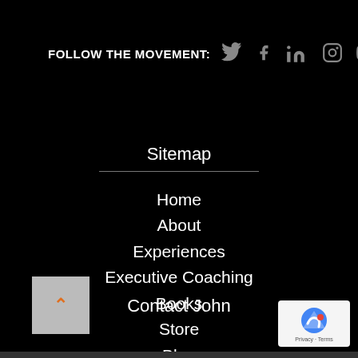FOLLOW THE MOVEMENT:
[Figure (illustration): Social media icons: Twitter, Facebook, LinkedIn, Instagram, YouTube]
Sitemap
Home
About
Experiences
Executive Coaching
Books
Store
Blog
Contact
Contact John
[Figure (logo): reCAPTCHA badge with Privacy and Terms links]